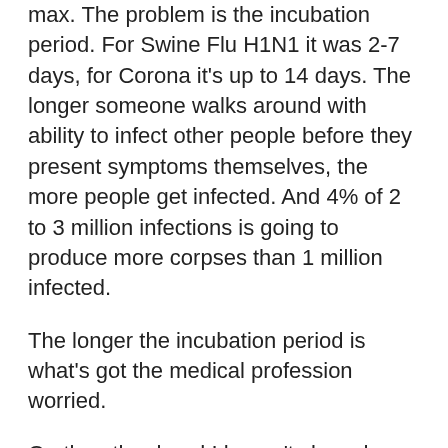max. The problem is the incubation period. For Swine Flu H1N1 it was 2-7 days, for Corona it's up to 14 days. The longer someone walks around with ability to infect other people before they present symptoms themselves, the more people get infected. And 4% of 2 to 3 million infections is going to produce more corpses than 1 million infected.
The longer the incubation period is what's got the medical profession worried.
On the other hand I haven't slowed down ordering takeout from my local Chinese restaurant either, but then again I've always been more than a touch fatalistic. LOL!!!